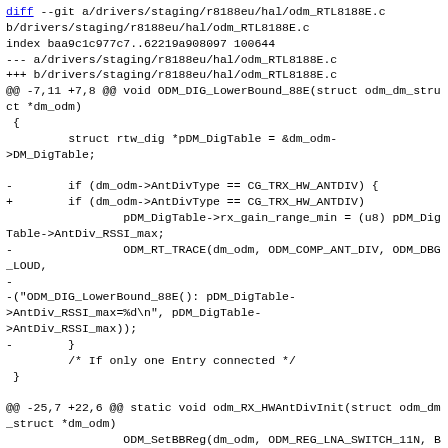[Figure (screenshot): A unified diff (patch) view showing changes to drivers/staging/r8188eu/hal/odm_RTL8188E.c. The diff shows removal of a closing brace and a debug trace call (ODM_RT_TRACE) when AntDivType equals CG_TRX_HW_ANTDIV, and shows additional context including ODM_SetBBReg and return statements.]